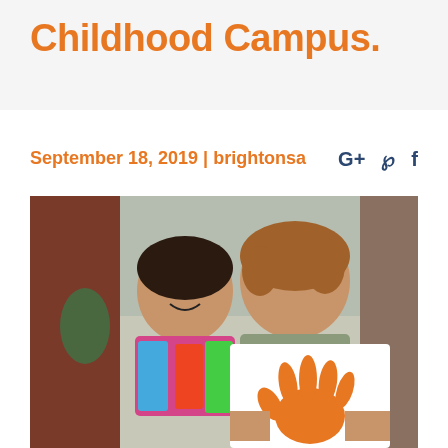Childhood Campus.
September 18, 2019 | brightonsa
[Figure (photo): Two young children on a playground structure, one holding a white paper with an orange handprint.]